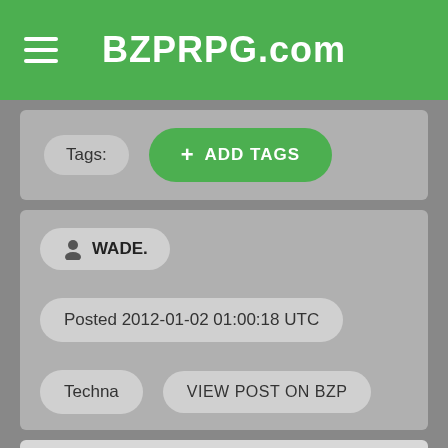BZPRPG.com
Tags:
+ ADD TAGS
WADE.
Posted 2012-01-02 01:00:18 UTC
Techna
VIEW POST ON BZP
IC: Sylux (Roof of a taxi, near the Housing District)Sylux's fingers dug into the sides of the taxi which he was holding on to, the speed the vehicle was travelling at making it very hard for him to do so. His arm blades came into sight as he activated them and dug his right one into the roof of the car. Now that he had